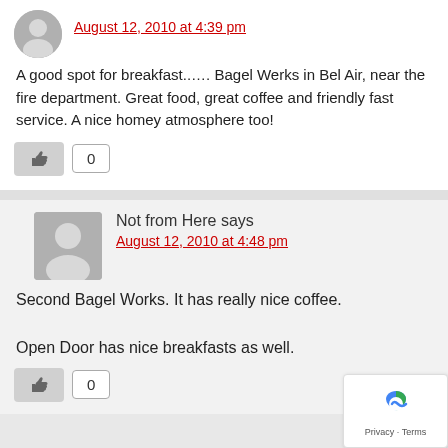August 12, 2010 at 4:39 pm
A good spot for breakfast...… Bagel Werks in Bel Air, near the fire department. Great food, great coffee and friendly fast service. A nice homey atmosphere too!
Not from Here says
August 12, 2010 at 4:48 pm
Second Bagel Works. It has really nice coffee.

Open Door has nice breakfasts as well.